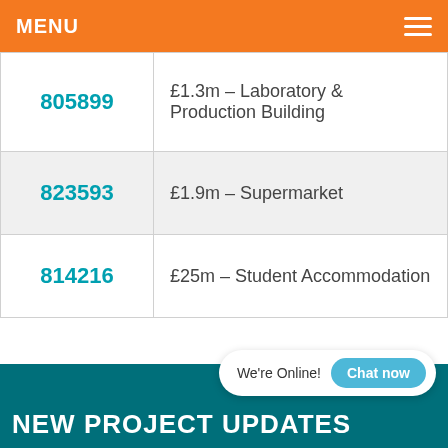MENU
| 805899 | £1.3m – Laboratory & Production Building |
| 823593 | £1.9m – Supermarket |
| 814216 | £25m – Student Accommodation |
We're Online!
NEW PROJECT UPDATES